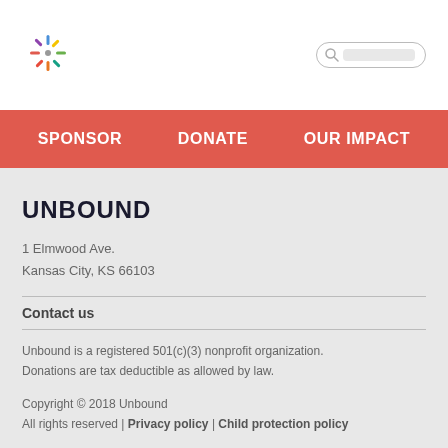[Figure (logo): Colorful starburst/snowflake logo mark for Unbound organization]
[Figure (other): Search bar with magnifying glass icon]
SPONSOR   DONATE   OUR IMPACT
UNBOUND
1 Elmwood Ave.
Kansas City, KS 66103
Contact us
Unbound is a registered 501(c)(3) nonprofit organization. Donations are tax deductible as allowed by law.
Copyright © 2018 Unbound
All rights reserved | Privacy policy | Child protection policy